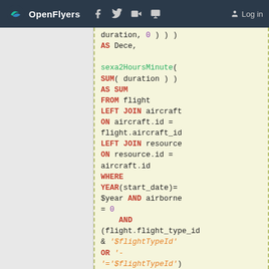OpenFlyers | Log in
[Figure (screenshot): SQL code block showing a query with duration, sexa2HoursMinute, SUM, FROM flight, LEFT JOIN aircraft, LEFT JOIN resource, WHERE YEAR(start_date)=$year AND airborne = 0 AND (flight.flight_type_id & '$flightTypeId' OR '-'='$flightTypeId'), GROUP BY resource.id, UNION, SELECT 'Sum]
duration, 0 ) ) )
AS Dece,

sexa2HoursMinute(
SUM( duration ) )
AS SUM
FROM flight
LEFT JOIN aircraft
ON aircraft.id =
flight.aircraft_id
LEFT JOIN resource
ON resource.id =
aircraft.id
WHERE
YEAR(start_date)=
$year AND airborne
= 0
  AND
(flight.flight_type_id
& '$flightTypeId'
OR '-
'='$flightTypeId')
GROUP BY
resource.id
UNION
SELECT  "Sum